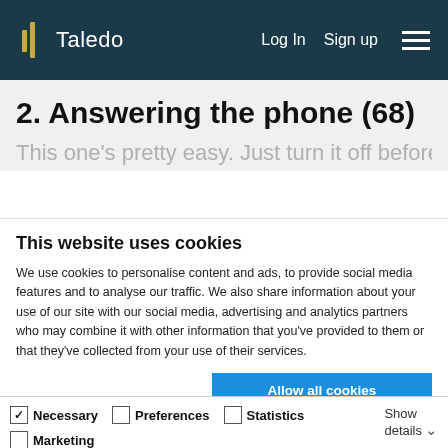Taledo  Log In  Sign up
2. Answering the phone (68)
This one's pretty easy. Just turn it off before your
This website uses cookies
We use cookies to personalise content and ads, to provide social media features and to analyse our traffic. We also share information about your use of our site with our social media, advertising and analytics partners who may combine it with other information that you've provided to them or that they've collected from your use of their services.
Allow all cookies
Allow selection
Use necessary cookies only
Necessary  Preferences  Statistics  Marketing  Show details